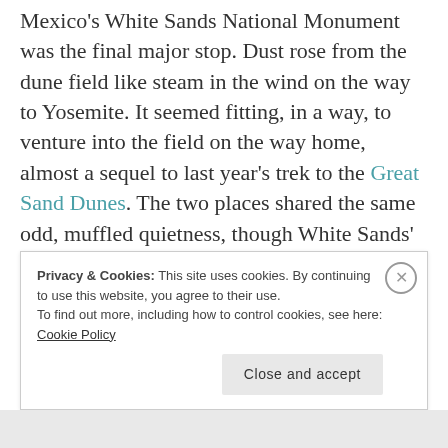Mexico's White Sands National Monument was the final major stop. Dust rose from the dune field like steam in the wind on the way to Yosemite. It seemed fitting, in a way, to venture into the field on the way home, almost a sequel to last year's trek to the Great Sand Dunes. The two places shared the same odd, muffled quietness, though White Sands' dunes are much smaller. The missile range where the first nuclear weapon was detonated is next door, and an occasional jet
Privacy & Cookies: This site uses cookies. By continuing to use this website, you agree to their use. To find out more, including how to control cookies, see here: Cookie Policy